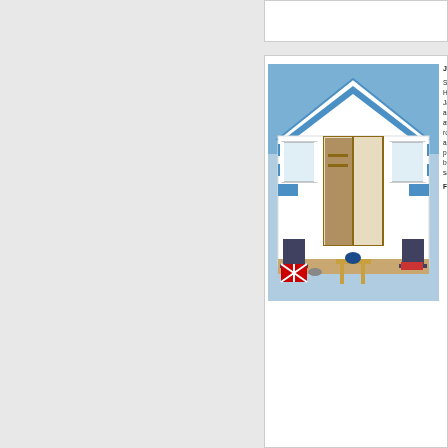[Figure (photo): Top portion of a white card/listing panel, partially visible at top of page]
[Figure (photo): Blue and white striped beach hut with open doors, two folding chairs outside, Union Jack rug, small wooden table with blue teapot]
JA
So
Hi
Ja
an
aw
ro
a p
bu
sa
FO
[Figure (photo): Bottom card showing interior of a beach hut or similar structure, labeled 'Ea']